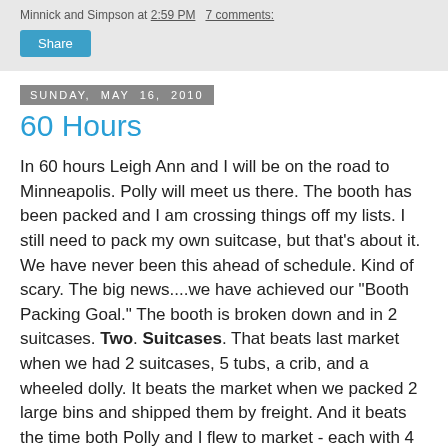Minnick and Simpson at 2:59 PM   7 comments:
Share
Sunday, May 16, 2010
60 Hours
In 60 hours Leigh Ann and I will be on the road to Minneapolis. Polly will meet us there. The booth has been packed and I am crossing things off my lists. I still need to pack my own suitcase, but that's about it. We have never been this ahead of schedule. Kind of scary. The big news....we have achieved our "Booth Packing Goal." The booth is broken down and in 2 suitcases. Two. Suitcases. That beats last market when we had 2 suitcases, 5 tubs, a crib, and a wheeled dolly. It beats the market when we packed 2 large bins and shipped them by freight. And it beats the time both Polly and I flew to market - each with 4 suitcases on wheels. Flying with 4 suitcases is now but a fond memory. It would be cheaper just to buy our suitcases their own seats. A little explanation is due. Polly is mailing a box ahead to the hotel room and Sara and Hassan are